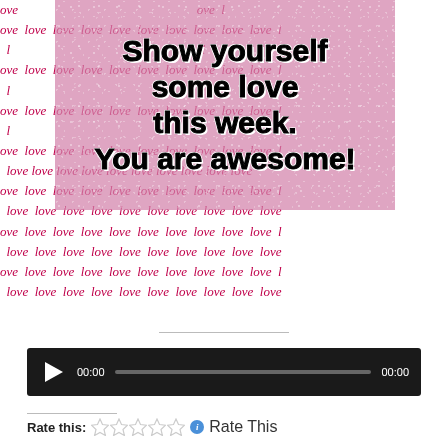[Figure (illustration): Motivational image with pink glitter background and bold black text reading 'Show yourself some love this week. You are awesome!' overlaid on a white background with repeated cursive red 'love' text pattern.]
[Figure (screenshot): Audio player widget with dark background, play button, time display showing 00:00, progress bar, and end time 00:00.]
Rate this: ☆☆☆☆☆ ℹ Rate This